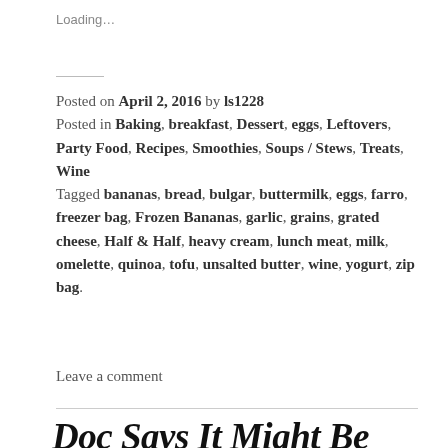Loading…
Posted on April 2, 2016 by ls1228
Posted in Baking, breakfast, Dessert, eggs, Leftovers, Party Food, Recipes, Smoothies, Soups / Stews, Treats, Wine
Tagged bananas, bread, bulgar, buttermilk, eggs, farro, freezer bag, Frozen Bananas, garlic, grains, grated cheese, Half & Half, heavy cream, lunch meat, milk, omelette, quinoa, tofu, unsalted butter, wine, yogurt, zip bag.
Leave a comment
Doc Says It Might Be Time To Cut Back a Bit